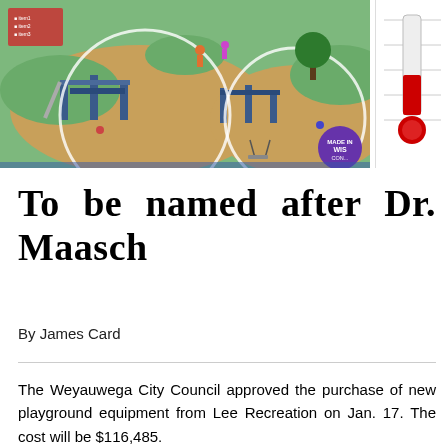[Figure (illustration): Aerial rendering of a playground with play equipment, mulch ground cover, green grass areas, and children playing. Shows a large multi-structure play area with slides, climbing equipment, and swings.]
[Figure (infographic): Thermometer-style fundraising progress bar on the right side, showing red fill partially up the thermometer graphic on a white grid background.]
To be named after Dr. Maasch
By James Card
The Weyauwega City Council approved the purchase of new playground equipment from Lee Recreation on Jan. 17. The cost will be $116,485.